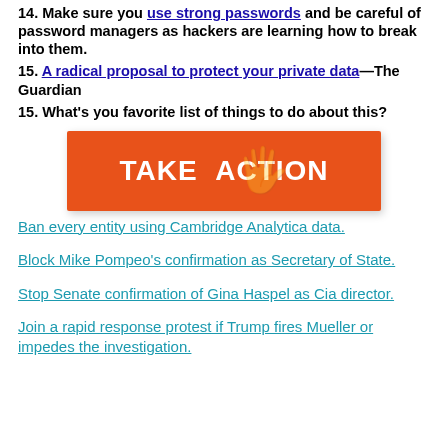14. Make sure you use strong passwords and be careful of password managers as hackers are learning how to break into them.
15. A radical proposal to protect your private data—The Guardian
15. What's you favorite list of things to do about this?
[Figure (other): Orange 'TAKE ACTION' button banner with a hand icon watermark]
Ban every entity using Cambridge Analytica data.
Block Mike Pompeo's confirmation as Secretary of State.
Stop Senate confirmation of Gina Haspel as Cia director.
Join a rapid response protest if Trump fires Mueller or impedes the investigation.